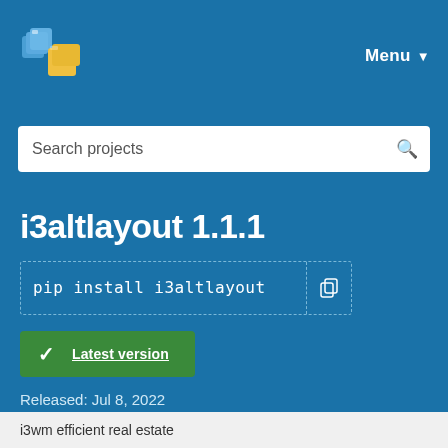Menu
Search projects
i3altlayout 1.1.1
pip install i3altlayout
Latest version
Released: Jul 8, 2022
i3wm efficient real estate